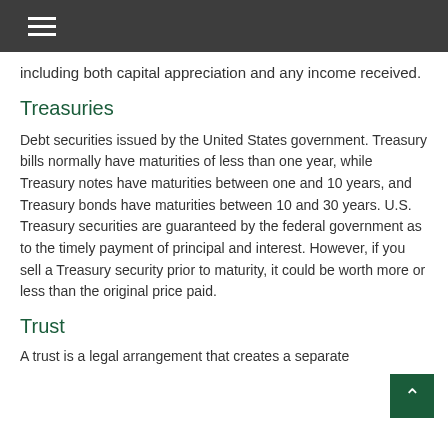including both capital appreciation and any income received.
Treasuries
Debt securities issued by the United States government. Treasury bills normally have maturities of less than one year, while Treasury notes have maturities between one and 10 years, and Treasury bonds have maturities between 10 and 30 years. U.S. Treasury securities are guaranteed by the federal government as to the timely payment of principal and interest. However, if you sell a Treasury security prior to maturity, it could be worth more or less than the original price paid.
Trust
A trust is a legal arrangement that creates a separate